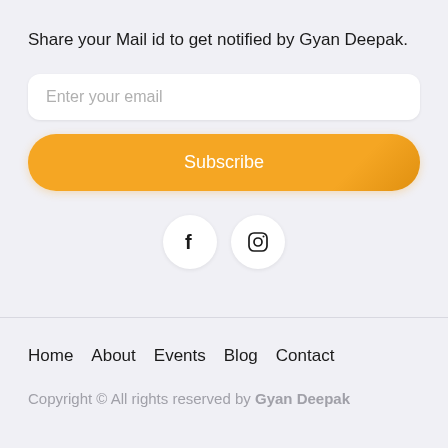Share your Mail id to get notified by Gyan Deepak.
Enter your email
Subscribe
[Figure (infographic): Two circular social media icon buttons: Facebook (f) and Instagram (camera/square icon), white circles on light grey background]
Home
About
Events
Blog
Contact
Copyright © All rights reserved by Gyan Deepak